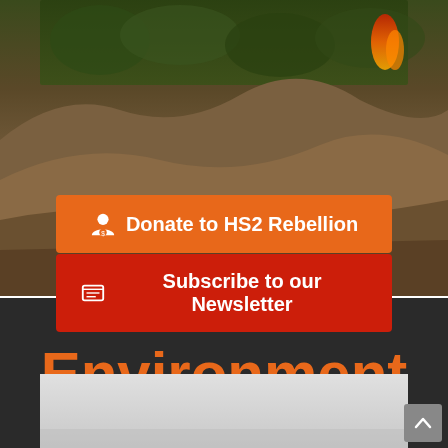[Figure (photo): Aerial or ground-level photo of excavated earth/dirt mounds with green trees/shrubs in background and fire/flame visible at top right — HS2 construction site environmental destruction]
Donate to HS2 Rebellion
Subscribe to our Newsletter
Environment
[Figure (photo): Light grey/overcast sky or foggy outdoor image — partial view at bottom of page]